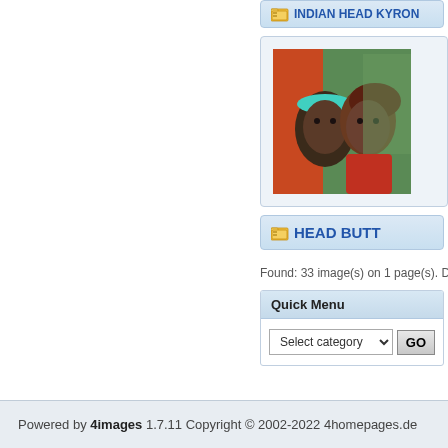[Figure (screenshot): Navigation link button with folder icon labeled 'INDIAN HEAD KYRON' in blue bold text on light blue gradient background]
[Figure (photo): Photograph of two people (faces visible), one wearing a turquoise headband, set against a green background with orange/red fabric]
[Figure (screenshot): Navigation link button with folder icon labeled 'HEAD BUTT' in blue bold text on light blue gradient background]
Found: 33 image(s) on 1 page(s). Displayed
Quick Menu
Select category  GO
Powered by 4images 1.7.11 Copyright © 2002-2022 4homepages.de